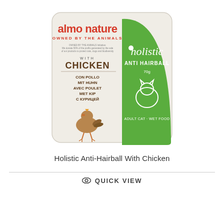[Figure (photo): Product photo of Almo Nature Holistic Anti-Hairball With Chicken cat food container — a white/cream tray with red 'almo nature OWNED BY THE ANIMALS' text at the top, brown 'WITH CHICKEN' text, multilingual translations below (CON POLLO, MIT HUHN, AVEC POULET, MET KIP, С КУРИЦЕЙ), a chicken illustration, and a green panel on the right labelled 'holistic ANTI HAIRBALL 70g ADULT CAT · WET FOOD']
Holistic Anti-Hairball With Chicken
⊙  QUICK VIEW